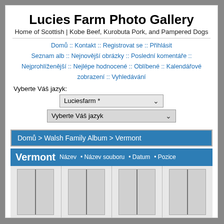Lucies Farm Photo Gallery
Home of Scottish | Kobe Beef, Kurobuta Pork, and Pampered Dogs
Domů :: Kontakt :: Registrovat se :: Přihlásit :: Seznam alb :: Nejnovější obrázky :: Poslední komentáře :: Nejprohlíženější :: Nejlépe hodnocené :: Oblíbené :: Kalendářové zobrazení :: Vyhledávání
Vyberte Váš jazyk:
Luciesfarm *
Vyberte Váš jazyk
Domů > Walsh Family Album > Vermont
| Vermont | Název | • Název souboru | • Datum | • Pozice |
| --- | --- | --- | --- | --- |
| Marjorie at Lunch
739 zobrazení | Craig at Lunch
626 zobrazení
Weathervane | Marjorie in Infrared
606 zobrazení | Stimpson Hill - in Infrared
616 zobrazení |